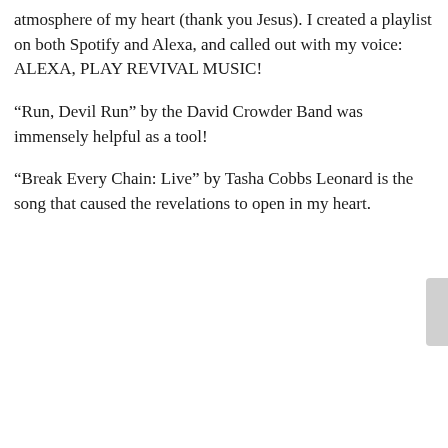atmosphere of my heart (thank you Jesus). I created a playlist on both Spotify and Alexa, and called out with my voice: ALEXA, PLAY REVIVAL MUSIC!
“Run, Devil Run” by the David Crowder Band was immensely helpful as a tool!
“Break Every Chain: Live” by Tasha Cobbs Leonard is the song that caused the revelations to open in my heart.